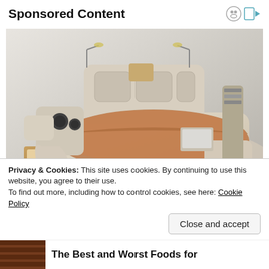Sponsored Content
[Figure (photo): A large luxury smart bed with built-in speakers, massage chair, storage drawers, reading lamps, a laptop stand, and ottoman, displayed on a white/grey background.]
Privacy & Cookies: This site uses cookies. By continuing to use this website, you agree to their use.
To find out more, including how to control cookies, see here: Cookie Policy
Close and accept
The Best and Worst Foods for